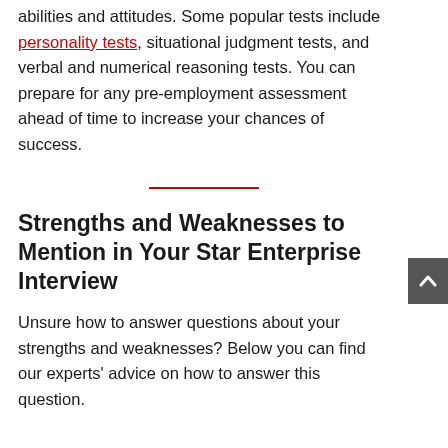abilities and attitudes. Some popular tests include personality tests, situational judgment tests, and verbal and numerical reasoning tests. You can prepare for any pre-employment assessment ahead of time to increase your chances of success.
Strengths and Weaknesses to Mention in Your Star Enterprise Interview
Unsure how to answer questions about your strengths and weaknesses? Below you can find our experts' advice on how to answer this question.